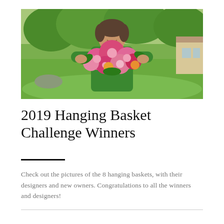[Figure (photo): A person in a green shirt smiling and holding a large bouquet of pink dahlia flowers, standing outdoors in front of lush green trees and lawn, with a house visible in the background on the right.]
2019 Hanging Basket Challenge Winners
Check out the pictures of the 8 hanging baskets, with their designers and new owners. Congratulations to all the winners and designers!